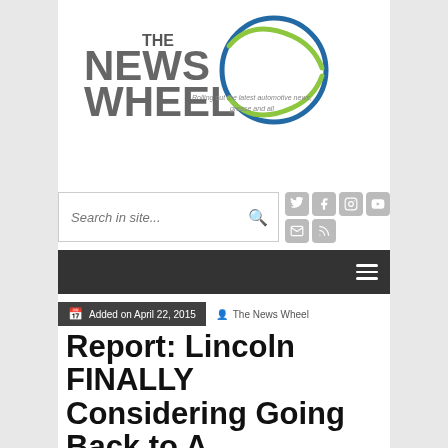[Figure (logo): The News Wheel logo with circular blue and green swoosh design and tagline 'Rolling out the latest automotive news, grease and all']
[Figure (screenshot): Search bar with placeholder text 'Search in site...' and magnifying glass icon]
[Figure (screenshot): Social media icons grid: Twitter, Facebook, Instagram, YouTube, Email, RSS]
[Figure (screenshot): Dark navigation bar with hamburger menu icon]
Added on April 22, 2015   The News Wheel
Report: Lincoln FINALLY Considering Going Back to A...d N...